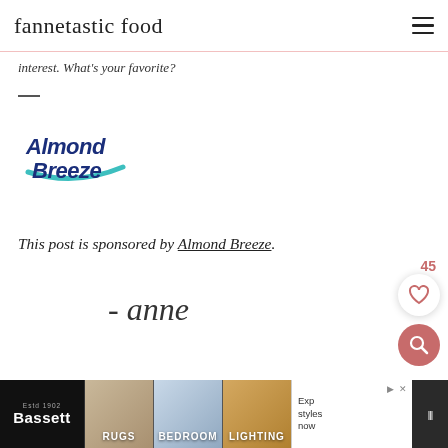fannetastic food
interest. What's your favorite?
[Figure (logo): Almond Breeze logo — blue and teal script with swoosh]
This post is sponsored by Almond Breeze.
[Figure (illustration): Handwritten signature reading '- anne']
[Figure (screenshot): Advertisement banner: Bassett furniture — RUGS, BEDROOM, LIGHTING categories with promotional overlay]